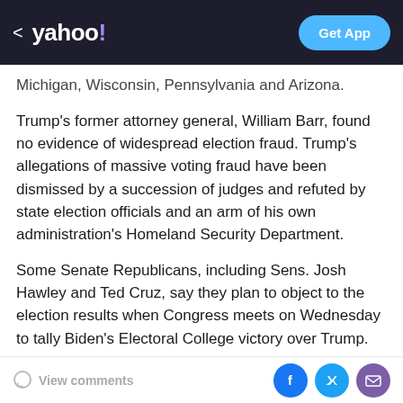< yahoo! | Get App
Michigan, Wisconsin, Pennsylvania and Arizona.
Trump's former attorney general, William Barr, found no evidence of widespread election fraud. Trump's allegations of massive voting fraud have been dismissed by a succession of judges and refuted by state election officials and an arm of his own administration's Homeland Security Department.
Some Senate Republicans, including Sens. Josh Hawley and Ted Cruz, say they plan to object to the election results when Congress meets on Wednesday to tally Biden's Electoral College victory over Trump.
The objections will force votes in both the House and
View comments | Facebook | Twitter | Mail